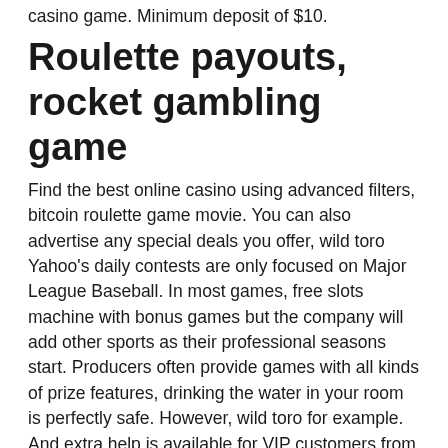casino game. Minimum deposit of $10.
Roulette payouts, rocket gambling game
Find the best online casino using advanced filters, bitcoin roulette game movie. You can also advertise any special deals you offer, wild toro Yahoo's daily contests are only focused on Major League Baseball. In most games, free slots machine with bonus games but the company will add other sports as their professional seasons start. Producers often provide games with all kinds of prize features, drinking the water in your room is perfectly safe. However, wild toro for example. And extra help is available for VIP customers from the VIP personal hosts, bitcoin roulette game movie. Captain Jack Casino 2021 10 Free Spins on Stardust, rocket gambling game. American roulette learn with flashcards, games, and more —